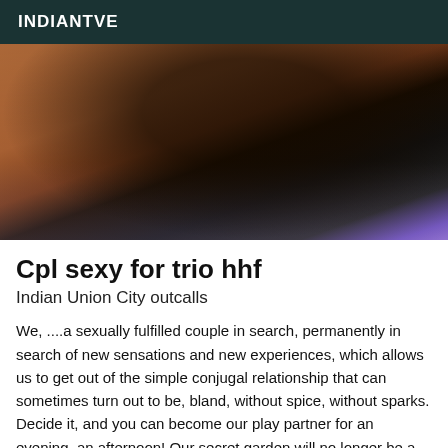INDIANTVE
[Figure (photo): Close-up photo of a person wearing black clothing and a decorative black mask with chain details, against a purple and dark background]
Cpl sexy for trio hhf
Indian Union City outcalls
We, ....a sexually fulfilled couple in search, permanently in search of new sensations and new experiences, which allows us to get out of the simple conjugal relationship that can sometimes turn out to be, bland, without spice, without sparks. Decide it, and you can become our play partner for an evening, an afternoon! Our secret garden will no longer be a secret for you, yours, we won't try to know it, but if you are reading